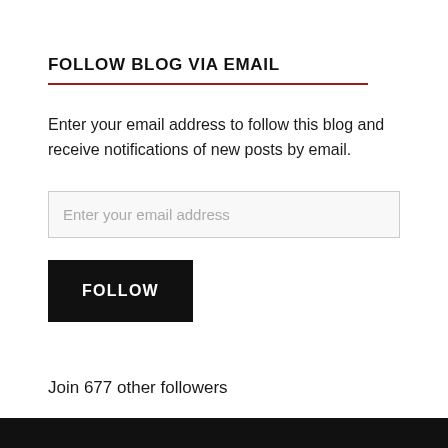FOLLOW BLOG VIA EMAIL
Enter your email address to follow this blog and receive notifications of new posts by email.
Enter your email address
FOLLOW
Join 677 other followers